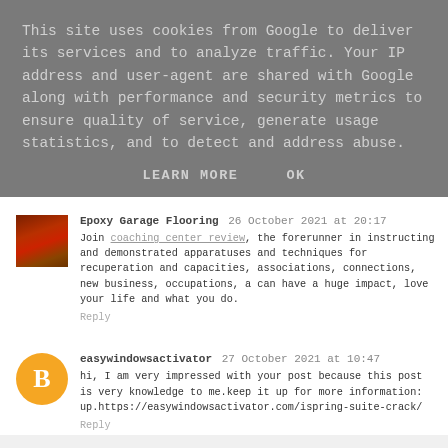This site uses cookies from Google to deliver its services and to analyze traffic. Your IP address and user-agent are shared with Google along with performance and security metrics to ensure quality of service, generate usage statistics, and to detect and address abuse.
LEARN MORE   OK
Epoxy Garage Flooring 26 October 2021 at 20:17
Join coaching center review, the forerunner in instructing and demonstrated apparatuses and techniques for recuperation and capacities, associations, connections, new business, occupations, a can have a huge impact, love your life and what you do.
Reply
easywindowsactivator 27 October 2021 at 10:47
hi, I am very impressed with your post because this post is very knowledge to me.keep it up for more information: up.https://easywindowsactivator.com/ispring-suite-crack/
Reply